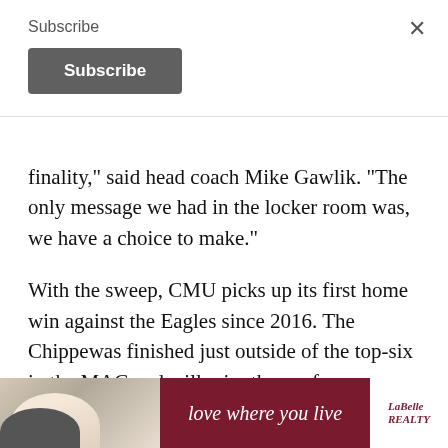Subscribe
finality," said head coach Mike Gawlik. "The only message we had in the locker room was, we have a choice to make."
With the sweep, CMU picks up its first home win against the Eagles since 2016. The Chippewas finished just outside of the top-six in the MAC and will miss the conference tournament.
"We wish it was a little different like going to the tournament, but being able to be in the mome[nt] is
[Figure (photo): Advertisement banner showing a person lying down, with dark red/maroon background, slogan 'love where you live' in italic white script, and LaBelle Realty logo on white background on the right.]